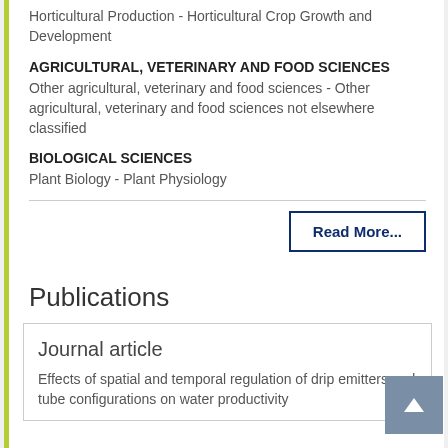Horticultural Production - Horticultural Crop Growth and Development
AGRICULTURAL, VETERINARY AND FOOD SCIENCES
Other agricultural, veterinary and food sciences - Other agricultural, veterinary and food sciences not elsewhere classified
BIOLOGICAL SCIENCES
Plant Biology - Plant Physiology
Read More...
Publications
Journal article
Effects of spatial and temporal regulation of drip emitters and tube configurations on water productivity